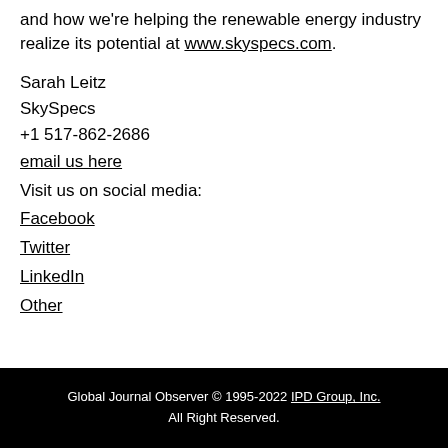and how we're helping the renewable energy industry realize its potential at www.skyspecs.com.
Sarah Leitz
SkySpecs
+1 517-862-2686
email us here
Visit us on social media:
Facebook
Twitter
LinkedIn
Other
Global Journal Observer © 1995-2022 IPD Group, Inc. All Right Reserved.